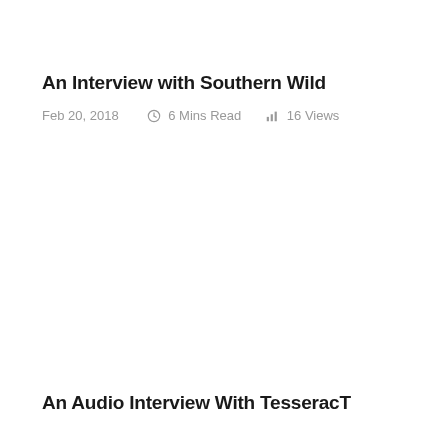An Interview with Southern Wild
Feb 20, 2018    6 Mins Read    16 Views
An Audio Interview With TesseracT